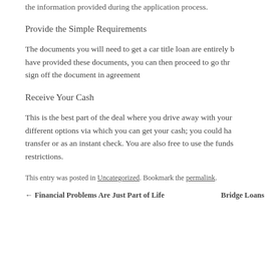the information provided during the application process.
Provide the Simple Requirements
The documents you will need to get a car title loan are entirely b... have provided these documents, you can then proceed to go thr... sign off the document in agreement
Receive Your Cash
This is the best part of the deal where you drive away with your... different options via which you can get your cash; you could ha... transfer or as an instant check. You are also free to use the funds... restrictions.
This entry was posted in Uncategorized. Bookmark the permalink.
← Financial Problems Are Just Part of Life   Bridge Loans